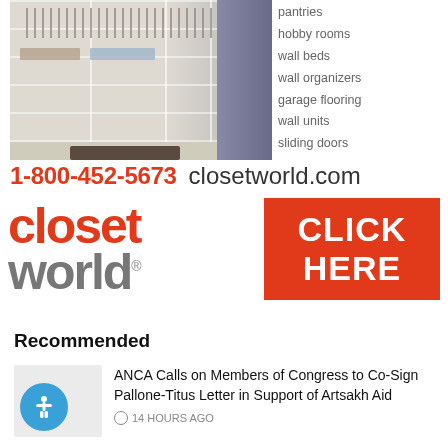[Figure (photo): Walk-in closet with white shelves, hanging clothes, and dark accent wall on right side]
pantries
hobby rooms
wall beds
wall organizers
garage flooring
wall units
sliding doors
1-800-452-5673  closetworld.com
[Figure (logo): Closet World logo in red and gray with CLICK HERE button in orange-red]
Recommended
ANCA Calls on Members of Congress to Co-Sign Pallone-Titus Letter in Support of Artsakh Aid
14 HOURS AGO